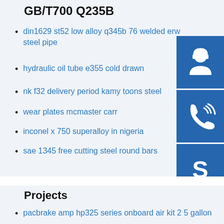GB/T700 Q235B
din1629 st52 low alloy q345b 76 welded erw steel pipe
hydraulic oil tube e355 cold drawn
nk f32 delivery period kamy toons steel
wear plates mcmaster carr
inconel x 750 superalloy in nigeria
sae 1345 free cutting steel round bars
[Figure (illustration): Blue square icon with white customer service / headset person silhouette]
[Figure (illustration): Blue square icon with white phone/call waves symbol]
[Figure (illustration): Blue square icon with white Skype logo]
Projects
pacbrake amp hp325 series onboard air kit 2 5 gallon